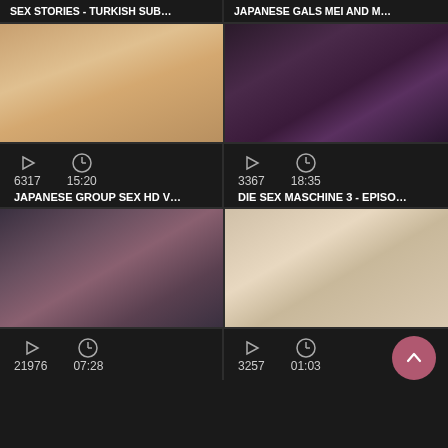SEX STORIES - TURKISH SUB...
JAPANESE GALS MEI AND M...
[Figure (screenshot): Video thumbnail showing close-up skin tones on patterned fabric]
[Figure (screenshot): Video thumbnail showing dark lingerie scene]
6317  15:20
3367  18:35
JAPANESE GROUP SEX HD V...
DIE SEX MASCHINE 3 - EPISO...
[Figure (screenshot): Video thumbnail showing group scene with tattooed man and two women]
[Figure (screenshot): Video thumbnail showing women in vintage/retro setting]
21976  07:28
3257  01:03